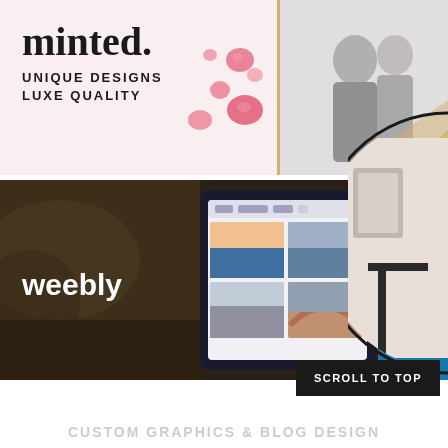[Figure (screenshot): Minted advertisement banner with pink diamond decorations, text 'minted. UNIQUE DESIGNS LUXE QUALITY' on left, wedding couple photo on right]
[Figure (screenshot): Weebly advertisement banner with dark background showing 'weebly' logo text on left and tablet displaying photo gallery grid on center, coastal scenery on right]
[Figure (photo): Partial circular framed photo of interior scene, visible on right edge]
SCROLL TO TOP
CUSTOM GRAPHICS & BLOG DESIGN